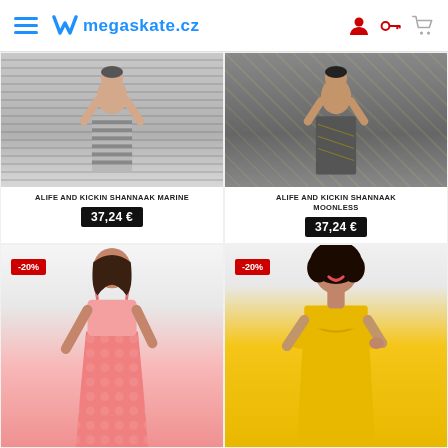megaskate.cz
[Figure (photo): Product photo: striped skirt/dress (marine pattern) - top portion shown]
ALIFE AND KICKIN SHANNAAK MARINE
37,24 €
[Figure (photo): Product photo: dark geometric patterned dress (moonless) - top portion shown]
ALIFE AND KICKIN SHANNAAK MOONLESS
37,24 €
[Figure (photo): Product photo: woman in pink tie-dye maxi dress with -20% discount badge]
[Figure (photo): Product photo: woman in yellow short-sleeve top/dress with -20% discount badge]